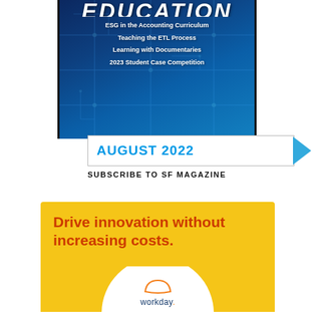[Figure (illustration): Magazine cover with dark blue circuit-board background showing title EDUCATION and article topics: ESG in the Accounting Curriculum, Teaching the ETL Process, Learning with Documentaries, 2023 Student Case Competition]
AUGUST 2022
SUBSCRIBE TO SF MAGAZINE
[Figure (infographic): Yellow advertisement box for Workday with text 'Drive innovation without increasing costs.' and a Learn More button, cloud graphic, white semicircle, and Workday logo at bottom]